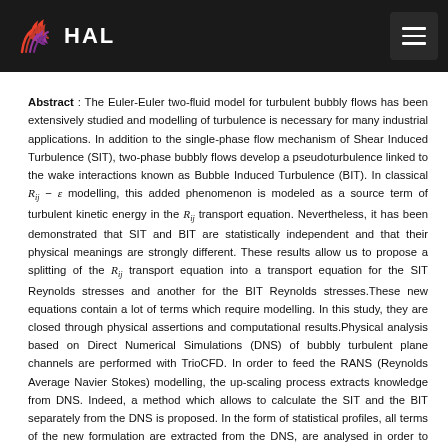HAL
Abstract : The Euler-Euler two-fluid model for turbulent bubbly flows has been extensively studied and modelling of turbulence is necessary for many industrial applications. In addition to the single-phase flow mechanism of Shear Induced Turbulence (SIT), two-phase bubbly flows develop a pseudoturbulence linked to the wake interactions known as Bubble Induced Turbulence (BIT). In classical R_ij − ε modelling, this added phenomenon is modeled as a source term of turbulent kinetic energy in the R_ij transport equation. Nevertheless, it has been demonstrated that SIT and BIT are statistically independent and that their physical meanings are strongly different. These results allow us to propose a splitting of the R_ij transport equation into a transport equation for the SIT Reynolds stresses and another for the BIT Reynolds stresses.These new equations contain a lot of terms which require modelling. In this study, they are closed through physical assertions and computational results.Physical analysis based on Direct Numerical Simulations (DNS) of bubbly turbulent plane channels are performed with TrioCFD. In order to feed the RANS (Reynolds Average Navier Stokes) modelling, the up-scaling process extracts knowledge from DNS. Indeed, a method which allows to calculate the SIT and the BIT separately from the DNS is proposed. In the form of statistical profiles, all terms of the new formulation are extracted from the DNS, are analysed in order to improve our understanding of BIT and are used in support for the